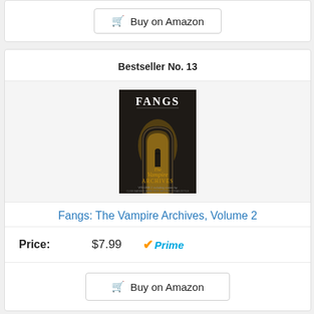[Figure (screenshot): Partial view of a 'Buy on Amazon' button from the previous card]
Bestseller No. 13
[Figure (photo): Book cover of 'Fangs: The Vampire Archives, Volume 2' — dark gothic cover with a silhouette in an archway, title 'FANGS' at top and 'The Vampire Archives' in ornate lettering]
Fangs: The Vampire Archives, Volume 2
Price: $7.99 Prime
[Figure (screenshot): Buy on Amazon button]